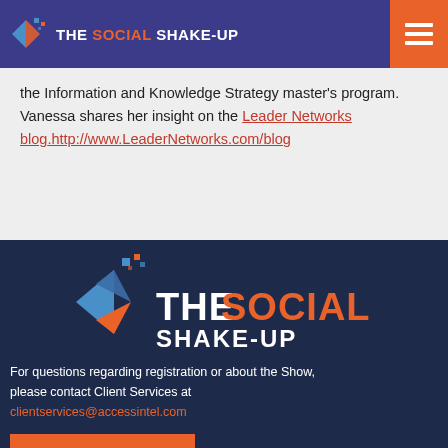THE SOCIAL SHAKE-UP
the Information and Knowledge Strategy master's program. Vanessa shares her insight on the Leader Networks blog.http://www.LeaderNetworks.com/blog
[Figure (logo): The Social Shake-Up logo on dark navy background with geometric arrow icon in blue and orange, text reading THE SOCIAL SHAKE-UP]
For questions regarding registration or about the Show, please contact Client Services at clientservices@accessintel.com
REGISTER NOW